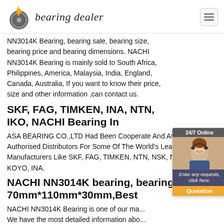[Figure (logo): Bearing dealer logo with flaming bearing icon and italic text 'bearing dealer']
NN3014K Bearing, bearing sale, bearing size, bearing price and bearing dimensions. NACHI NN3014K Bearing is mainly sold to South Africa, Philippines, America, Malaysia, India, England, Canada, Australia, If you want to know their price, size and other information ,can contact us.
SKF, FAG, TIMKEN, INA, NTN, IKO, NACHI Bearing In
ASA BEARING CO.,LTD Had Been Cooperate And Atten Official Authorised Distributors For Some Of The World's Leading Manufacturers Like SKF, FAG, TIMKEN, NTN, NSK, NACHI, IKO, KOYO, INA.
NACHI NN3014K bearing, bearing size: 70mm*110mm*30mm,Best
NACHI NN3014K Bearing is one of our ma... We have the most detailed information abo... NN3014K Bearing, bearing sale, bearing size, bearing